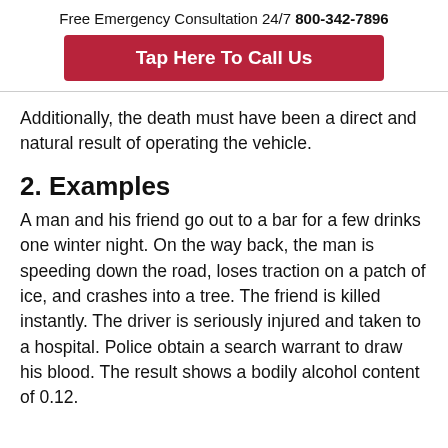Free Emergency Consultation 24/7 800-342-7896
[Figure (other): Red button with white bold text: Tap Here To Call Us]
Additionally, the death must have been a direct and natural result of operating the vehicle.
2. Examples
A man and his friend go out to a bar for a few drinks one winter night. On the way back, the man is speeding down the road, loses traction on a patch of ice, and crashes into a tree. The friend is killed instantly. The driver is seriously injured and taken to a hospital. Police obtain a search warrant to draw his blood. The result shows a bodily alcohol content of 0.12.